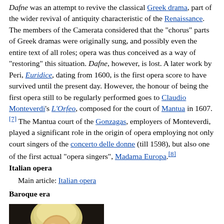Dafne was an attempt to revive the classical Greek drama, part of the wider revival of antiquity characteristic of the Renaissance. The members of the Camerata considered that the "chorus" parts of Greek dramas were originally sung, and possibly even the entire text of all roles; opera was thus conceived as a way of "restoring" this situation. Dafne, however, is lost. A later work by Peri, Euridice, dating from 1600, is the first opera score to have survived until the present day. However, the honour of being the first opera still to be regularly performed goes to Claudio Monteverdi's L'Orfeo, composed for the court of Mantua in 1607. [7] The Mantua court of the Gonzagas, employers of Monteverdi, played a significant role in the origin of opera employing not only court singers of the concerto delle donne (till 1598), but also one of the first actual "opera singers", Madama Europa.[8]
Italian opera
Main article: Italian opera
Baroque era
[Figure (photo): Portrait painting of a person with light curly/wavy hair against a dark background, cropped to show head and upper body]